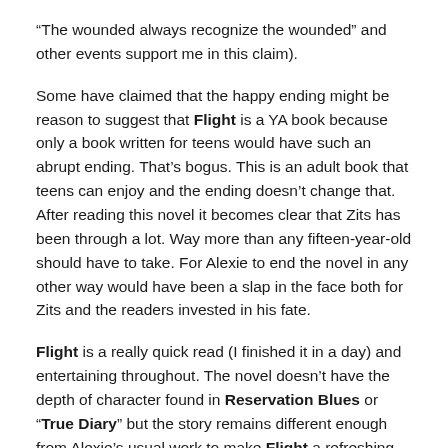“The wounded always recognize the wounded” and other events support me in this claim).
Some have claimed that the happy ending might be reason to suggest that Flight is a YA book because only a book written for teens would have such an abrupt ending. That’s bogus. This is an adult book that teens can enjoy and the ending doesn’t change that. After reading this novel it becomes clear that Zits has been through a lot. Way more than any fifteen-year-old should have to take. For Alexie to end the novel in any other way would have been a slap in the face both for Zits and the readers invested in his fate.
Flight is a really quick read (I finished it in a day) and entertaining throughout. The novel doesn’t have the depth of character found in Reservation Blues or “True Diary” but the story remains different enough from Alexie’s usual work to make Flight a refreshing departure.